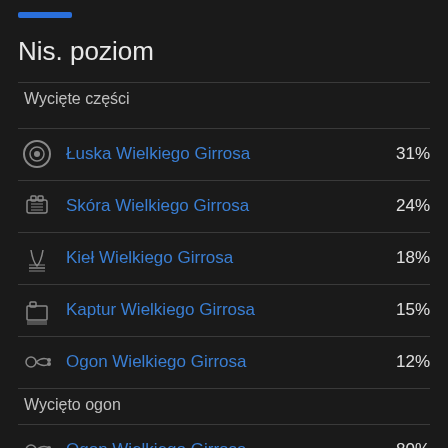[Figure (other): Blue horizontal bar indicator]
Nis. poziom
Wycięte części
Łuska Wielkiego Girrosa 31%
Skóra Wielkiego Girrosa 24%
Kieł Wielkiego Girrosa 18%
Kaptur Wielkiego Girrosa 15%
Ogon Wielkiego Girrosa 12%
Wycięto ogon
Ogon Wielkiego Girrosa 80%